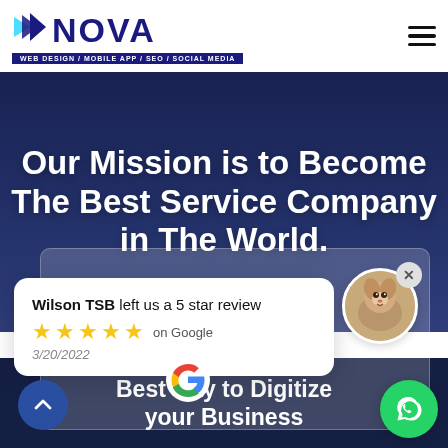[Figure (logo): Nova web design company logo with arrow icon and tagline: WEB DESIGN / MOBILE APP / SEO / SOCIAL MEDIA]
Our Mission is to Become The Best Service Company in The World.
Wilson TSB left us a 5 star review ★★★★★ on Google 3/20/2022
[Figure (illustration): Dog avatar profile photo in circular frame]
[Figure (logo): Google G multicolor logo]
Best way to Digitize your Business